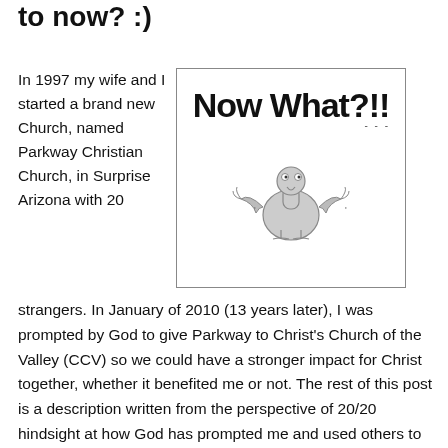to now? :)
In 1997 my wife and I started a brand new Church, named Parkway Christian Church, in Surprise Arizona with 20 strangers.
[Figure (illustration): A cartoon box with large bold handwritten-style text reading 'Now What?!!' and a small panicked cartoon bird/creature with raised wings at the bottom center.]
In January of 2010 (13 years later), I was prompted by God to give Parkway to Christ's Church of the Valley (CCV) so we could have a stronger impact for Christ together, whether it benefited me or not. The rest of this post is a description written from the perspective of 20/20 hindsight at how God has prompted me and used others to bring everything together right up to this point.